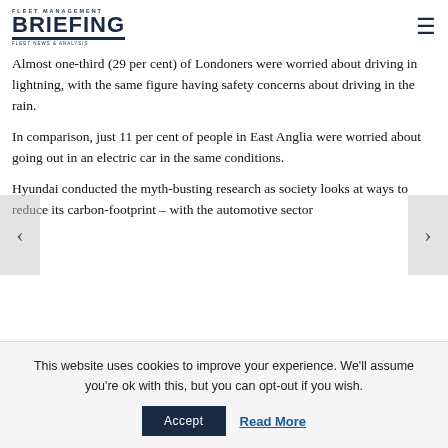Fleet Management Briefing
Almost one-third (29 per cent) of Londoners were worried about driving in lightning, with the same figure having safety concerns about driving in the rain.
In comparison, just 11 per cent of people in East Anglia were worried about going out in an electric car in the same conditions.
Hyundai conducted the myth-busting research as society looks at ways to reduce its carbon-footprint – with the automotive sector
This website uses cookies to improve your experience. We'll assume you're ok with this, but you can opt-out if you wish.
Accept | Read More